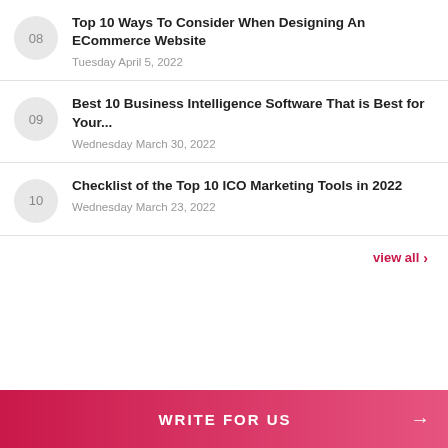08 | Top 10 Ways To Consider When Designing An ECommerce Website | Tuesday April 5, 2022
09 | Best 10 Business Intelligence Software That is Best for Your... | Wednesday March 30, 2022
10 | Checklist of the Top 10 ICO Marketing Tools in 2022 | Wednesday March 23, 2022
view all >
WRITE FOR US →